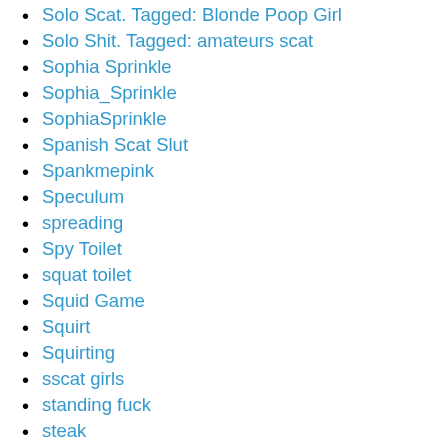Solo Scat. Tagged: Blonde Poop Girl
Solo Shit. Tagged: amateurs scat
Sophia Sprinkle
Sophia_Sprinkle
SophiaSprinkle
Spanish Scat Slut
Spankmepink
Speculum
spreading
Spy Toilet
squat toilet
Squid Game
Squirt
Squirting
sscat girls
standing fuck
steak